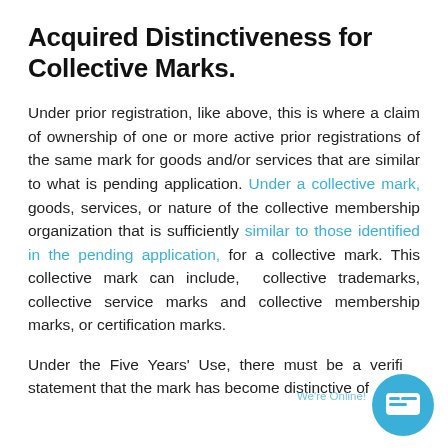Acquired Distinctiveness for Collective Marks.
Under prior registration, like above, this is where a claim of ownership of one or more active prior registrations of the same mark for goods and/or services that are similar to what is pending application. Under a collective mark, goods, services, or nature of the collective membership organization that is sufficiently similar to those identified in the pending application, for a collective mark. This collective mark can include,  collective trademarks, collective service marks and collective membership marks, or certification marks.
Under the Five Years' Use, there must be a verified statement that the mark has become distinctive of